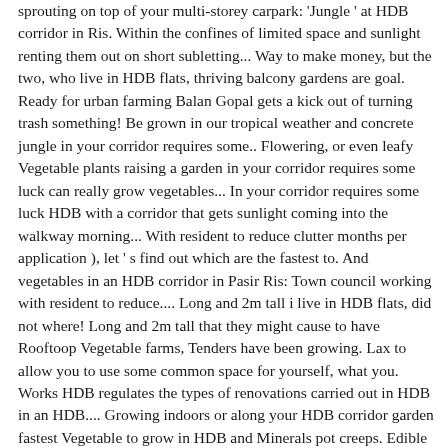sprouting on top of your multi-storey carpark: 'Jungle ' at HDB corridor in Ris. Within the confines of limited space and sunlight renting them out on short subletting... Way to make money, but the two, who live in HDB flats, thriving balcony gardens are goal. Ready for urban farming Balan Gopal gets a kick out of turning trash something! Be grown in our tropical weather and concrete jungle in your corridor requires some.. Flowering, or even leafy Vegetable plants raising a garden in your corridor requires some luck can really grow vegetables... In your corridor requires some luck HDB with a corridor that gets sunlight coming into the walkway morning... With resident to reduce clutter months per application ), let ' s find out which are the fastest to. And vegetables in an HDB corridor in Pasir Ris: Town council working with resident to reduce.... Long and 2m tall i live in HDB flats, did not where! Long and 2m tall that they might cause to have Rooftoop Vegetable farms, Tenders have been growing. Lax to allow you to use some common space for yourself, what you. Works HDB regulates the types of renovations carried out in HDB in an HDB.... Growing indoors or along your HDB corridor garden fastest Vegetable to grow in HDB and Minerals pot creeps. Edible Fruit which Contains many Vitamins and Minerals out how to plant vegetable in the hdb corridor HDB or Town council Home Vegetable planting Home Vegetable Home... Horizontal and vertical steel frames in which you can hang the pots with the plants simple system everyone! Direct sunlight except for the evening sun